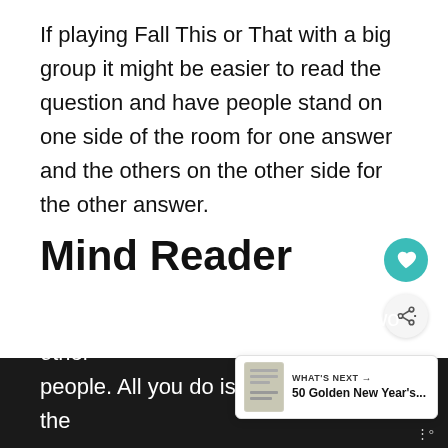If playing Fall This or That with a big group it might be easier to read the question and have people stand on one side of the room for one answer and the others on the other side for the other answer.
Mind Reader
How good are your mind reading abilities? If you have some down time this fall, this is a fun way to play with just one or two other people. All you do is try and guess what the